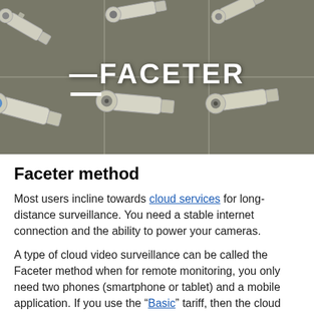[Figure (photo): A grid of security/surveillance cameras mounted on a wall, with the FACETER logo overlaid in white text in the center of the image.]
Faceter method
Most users incline towards cloud services for long-distance surveillance. You need a stable internet connection and the ability to power your cameras.
A type of cloud video surveillance can be called the Faceter method when for remote monitoring, you only need two phones (smartphone or tablet) and a mobile application. If you use the “Basic” tariff, then the cloud machine will not be charged.